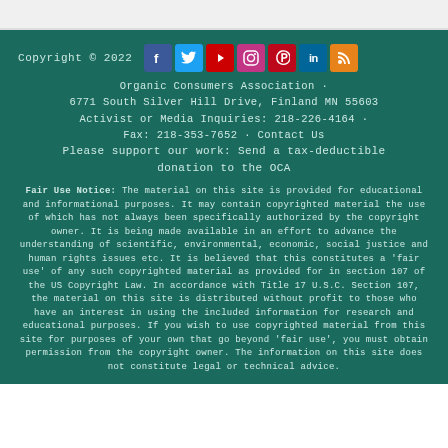Copyright © 2022
Organic Consumers Association · 6771 South Silver Hill Drive, Finland MN 55603 Activist or Media Inquiries: 218-226-4164 · Fax: 218-353-7652 · Contact Us Please support our work: Send a tax-deductible donation to the OCA
Fair Use Notice: The material on this site is provided for educational and informational purposes. It may contain copyrighted material the use of which has not always been specifically authorized by the copyright owner. It is being made available in an effort to advance the understanding of scientific, environmental, economic, social justice and human rights issues etc. It is believed that this constitutes a 'fair use' of any such copyrighted material as provided for in section 107 of the US Copyright Law. In accordance with Title 17 U.S.C. Section 107, the material on this site is distributed without profit to those who have an interest in using the included information for research and educational purposes. If you wish to use copyrighted material from this site for purposes of your own that go beyond 'fair use', you must obtain permission from the copyright owner. The information on this site does not constitute legal or technical advice.